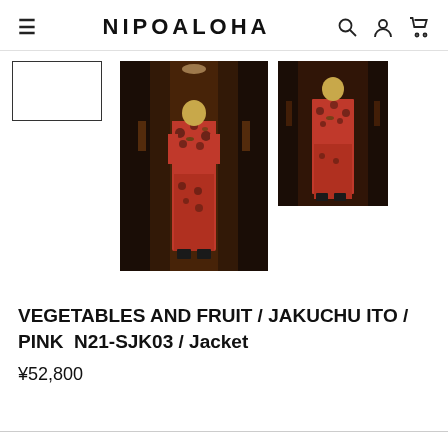NIPOALOHA
[Figure (photo): Thumbnail placeholder rectangle (empty white box with border)]
[Figure (photo): Main product photo: person standing in a dark hotel corridor wearing a red floral jacket and pants]
[Figure (photo): Side thumbnail: person wearing red floral outfit in dark setting]
VEGETABLES AND FRUIT / JAKUCHU ITO / PINK  N21-SJK03 / Jacket
¥52,800